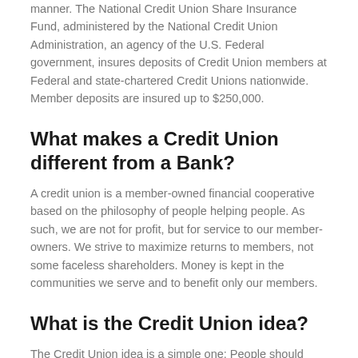manner. The National Credit Union Share Insurance Fund, administered by the National Credit Union Administration, an agency of the U.S. Federal government, insures deposits of Credit Union members at Federal and state-chartered Credit Unions nationwide. Member deposits are insured up to $250,000.
What makes a Credit Union different from a Bank?
A credit union is a member-owned financial cooperative based on the philosophy of people helping people. As such, we are not for profit, but for service to our member-owners. We strive to maximize returns to members, not some faceless shareholders. Money is kept in the communities we serve and to benefit only our members.
What is the Credit Union idea?
The Credit Union idea is a simple one: People should